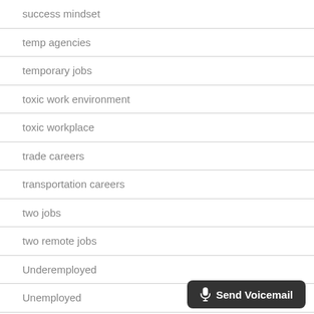success mindset
temp agencies
temporary jobs
toxic work environment
toxic workplace
trade careers
transportation careers
two jobs
two remote jobs
Underemployed
Unemployed
update your resume
[Figure (other): Send Voicemail button with microphone icon]